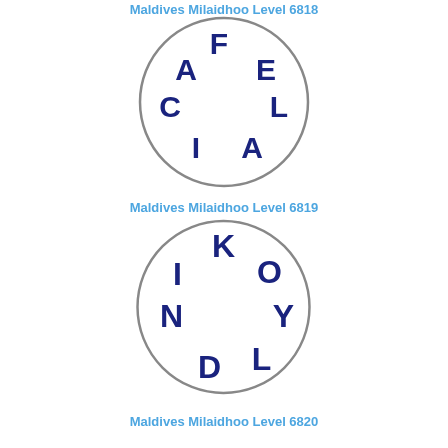Maldives Milaidhoo Level 6818
[Figure (illustration): Circle with letters F at top, E at upper right, L at right, A at lower center, I at lower left, C at left, A at upper left arranged around inner ring - word puzzle circle for Level 6819]
Maldives Milaidhoo Level 6819
[Figure (illustration): Circle with letters K at top, O at upper right, Y at right, L at lower right, D at bottom, N at lower left, I at left arranged around inner ring - word puzzle circle for Level 6820]
Maldives Milaidhoo Level 6820